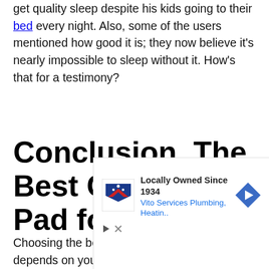get quality sleep despite his kids going to their bed every night. Also, some of the users mentioned how good it is; they now believe it's nearly impossible to sleep without it. How's that for a testimony?
Conclusion, The Best Cooling Pad for Bed
Choosing the best cooling pad for bed depends on your preference and needs. If you choose the non-
[Figure (infographic): Advertisement for Vito Services Plumbing, Heating. with logo and 'Locally Owned Since 1934' tagline, blue navigation arrow icon, and ad control icons.]